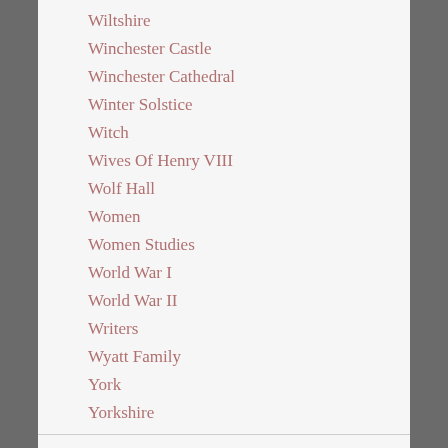Wiltshire
Winchester Castle
Winchester Cathedral
Winter Solstice
Witch
Wives Of Henry VIII
Wolf Hall
Women
Women Studies
World War I
World War II
Writers
Wyatt Family
York
Yorkshire
After ten years in the workplace I became a mother to three very beautiful daughters, I was fortunate enough to have